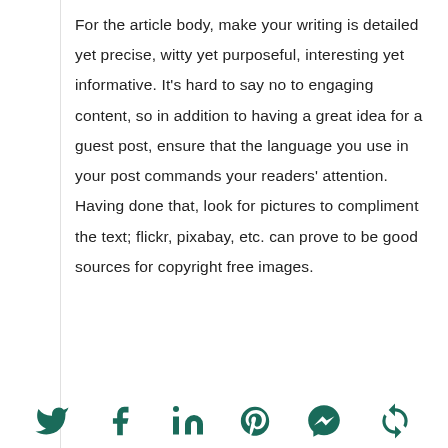For the article body, make your writing is detailed yet precise, witty yet purposeful, interesting yet informative. It's hard to say no to engaging content, so in addition to having a great idea for a guest post, ensure that the language you use in your post commands your readers' attention. Having done that, look for pictures to compliment the text; flickr, pixabay, etc. can prove to be good sources for copyright free images.
[Figure (other): Social media share icons row: Twitter bird, Facebook f, LinkedIn in, Pinterest P, Messenger, and a recycle/share icon, all in dark teal/green color.]